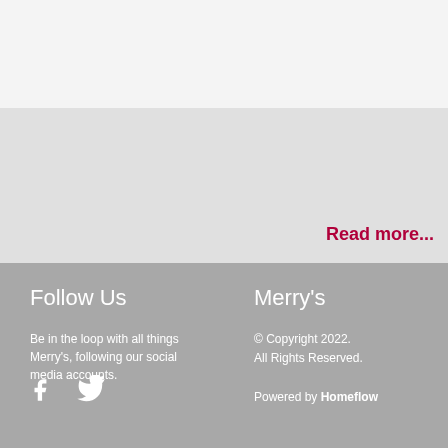Read more...
Follow Us
Be in the loop with all things Merry's, following our social media accounts.
[Figure (illustration): Facebook and Twitter social media icons in white]
Merry's
© Copyright 2022. All Rights Reserved.
Powered by Homeflow